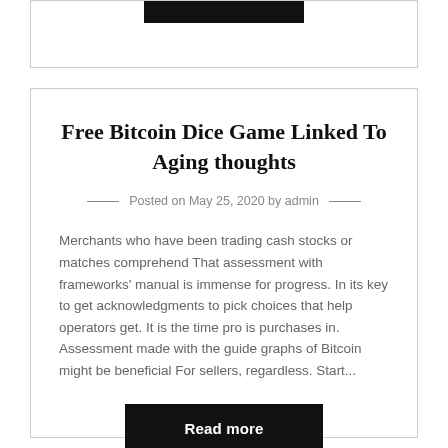Free Bitcoin Dice Game Linked To Aging thoughts
Posted on May 25, 2020 by admin
Merchants who have been trading cash stocks or matches comprehend That assessment with frameworks' manual is immense for progress. In its key to get acknowledgments to pick choices that help operators get. It is the time pro is purchases in. Assessment made with the guide graphs of Bitcoin might be beneficial For sellers, regardless. Start...